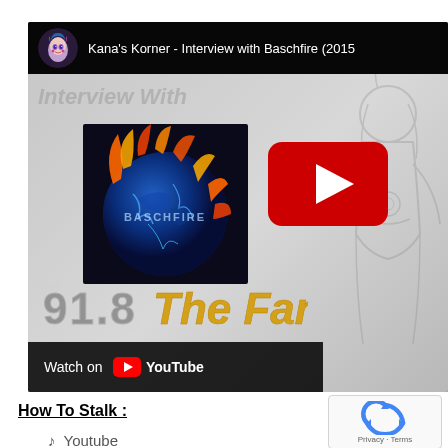[Figure (screenshot): YouTube video embed showing 'Kana's Korner - Interview with Baschfire (2015)' with channel avatar, thumbnail of Baschfire logo (globe with flames), red YouTube play button, anime character background, 91.8 The Fan station logo, and 'Watch on YouTube' bar at bottom]
How To Stalk :
Privacy · Terms
♪  Youtube